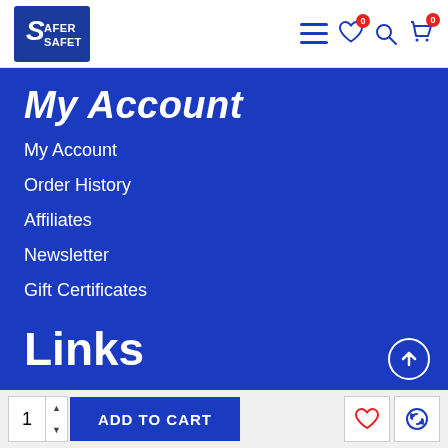[Figure (logo): Safer Safety logo — white text on blue background]
My Account
My Account
Order History
Affiliates
Newsletter
Gift Certificates
Links
About Us
Delivery
Privacy Policy